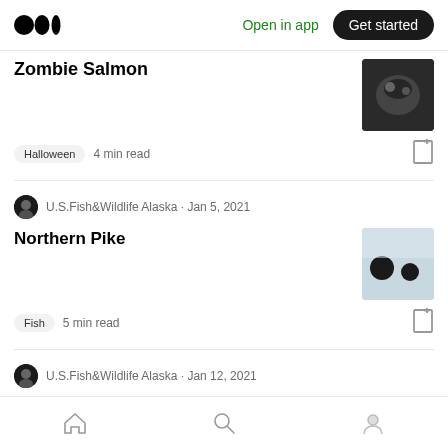Medium logo | Open in app | Get started
Zombie Salmon
Halloween  4 min read
U.S.Fish&Wildlife Alaska · Jan 5, 2021
Northern Pike
Fish  5 min read
U.S.Fish&Wildlife Alaska · Jan 12, 2021
Burbot: The Singsong Gadoid
Home | Search | Profile